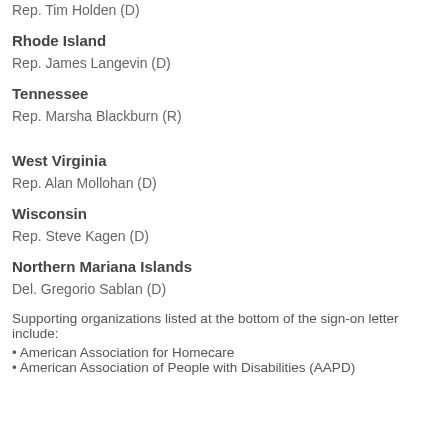Rep. Tim Holden (D)
Rhode Island
Rep. James Langevin (D)
Tennessee
Rep. Marsha Blackburn (R)
West Virginia
Rep. Alan Mollohan (D)
Wisconsin
Rep. Steve Kagen (D)
Northern Mariana Islands
Del. Gregorio Sablan (D)
Supporting organizations listed at the bottom of the sign-on letter include:
• American Association for Homecare
• American Association of People with Disabilities (AAPD)